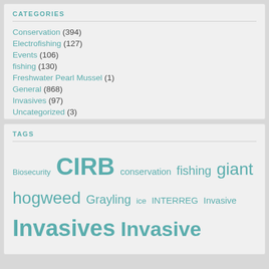CATEGORIES
Conservation (394)
Electrofishing (127)
Events (106)
fishing (130)
Freshwater Pearl Mussel (1)
General (868)
Invasives (97)
Uncategorized (3)
TAGS
Biosecurity CIRB conservation fishing giant hogweed Grayling ice INTERREG Invasive Invasives Invasive Weeds Japanese Knotweed non native species Red Squirrel River Ayr Spraying Stocking Training Trout Volunteers Water Voles weed control Winter